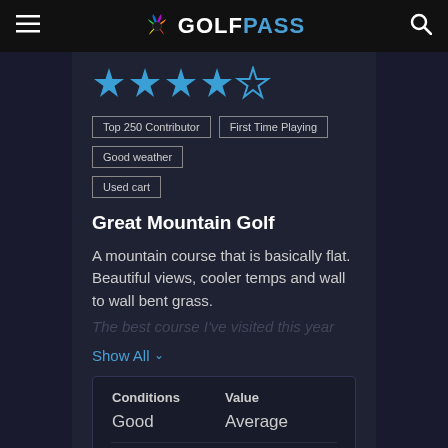GOLFPASS
[Figure (other): 4 out of 5 stars rating in blue]
Top 250 Contributor
First Time Playing
Good weather
Used cart
Great Mountain Golf
A mountain course that is basically flat. Beautiful views, cooler temps and wall to wall bent grass.
Show All
| Conditions | Value |
| --- | --- |
| Good | Average |
| Friendliness | Pace |